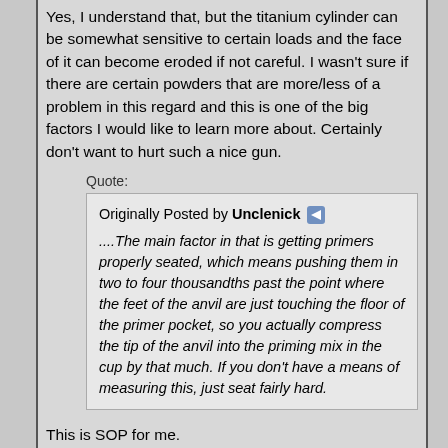Yes, I understand that, but the titanium cylinder can be somewhat sensitive to certain loads and the face of it can become eroded if not careful. I wasn't sure if there are certain powders that are more/less of a problem in this regard and this is one of the big factors I would like to learn more about. Certainly don't want to hurt such a nice gun.
Quote:
Originally Posted by Unclenick ....The main factor in that is getting primers properly seated, which means pushing them in two to four thousandths past the point where the feet of the anvil are just touching the floor of the primer pocket, so you actually compress the tip of the anvil into the priming mix in the cup by that much. If you don't have a means of measuring this, just seat fairly hard.
This is SOP for me.
Quote:
Originally Posted by Unclenick The next thing is to choose a powder that will be mostly consumed in the short barrel. This can be difficult as primers often unseat the bullets before the powder burn gets well